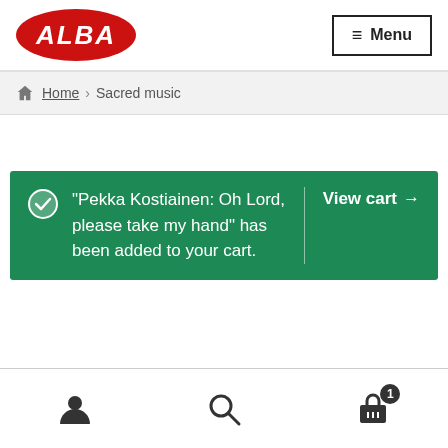[Figure (logo): ALBA logo: red oval with white italic ALBA text]
≡ Menu
🏠 Home › Sacred music
"Pekka Kostiainen: Oh Lord, please take my hand" has been added to your cart.
View cart →
[Figure (infographic): Bottom navigation bar with person icon, search icon, and shopping cart icon with badge showing 1]